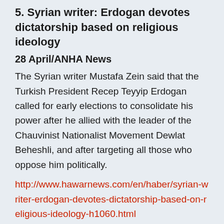5. Syrian writer: Erdogan devotes dictatorship based on religious ideology
28 April/ANHA News
The Syrian writer Mustafa Zein said that the Turkish President Recep Teyyip Erdogan called for early elections to consolidate his power after he allied with the leader of the Chauvinist Nationalist Movement Dewlat Beheshli, and after targeting all those who oppose him politically.
http://www.hawarnews.com/en/haber/syrian-writer-erdogan-devotes-dictatorship-based-on-religious-ideology-h1060.html
6. War crimes in Afrin: 58 people including 26